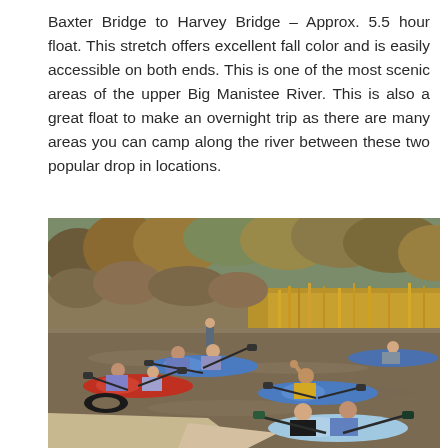Baxter Bridge to Harvey Bridge – Approx. 5.5 hour float. This stretch offers excellent fall color and is easily accessible on both ends. This is one of the most scenic areas of the upper Big Manistee River. This is also a great float to make an overnight trip as there are many areas you can camp along the river between these two popular drop in locations.
[Figure (photo): Group of people kayaking and canoeing on a calm river (Big Manistee River) in autumn. Several colorful kayaks and canoes visible — red, blue, and light blue. Trees with fall foliage line the riverbanks. People are paddling downstream; one person is waving. A sandy launch ramp is visible at bottom.]